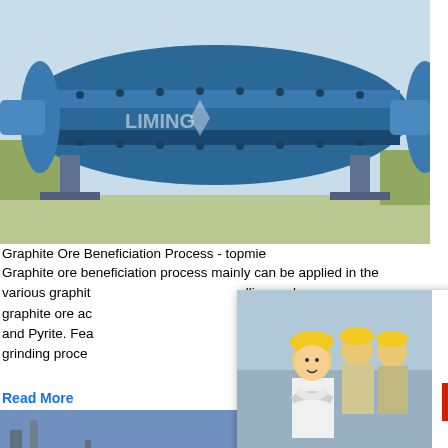[Figure (photo): Blue industrial ball mill machine with LIMING logo on light blue sky background]
Graphite Ore Beneficiation Process - topmie
Graphite ore beneficiation process mainly can be applied in the various graphite ... lline and graphite ore ac... hour online ... and Pyrite. Fea... grinding proce...
Read More
[Figure (photo): Industrial processing plant with large cylindrical equipment and metal framework]
A Review of Graphite Beneficiation Techniques S...
ABSTRACT Graphite as the most common...
[Figure (photo): Live Chat popup overlay showing workers in hard hats, LIVE CHAT title, Click for a Free Consultation, Chat now and Chat later buttons]
[Figure (photo): Right sidebar with blue background showing a cone crusher machine, Click me to chat>>, Enquiry, and limingjlmofen text]